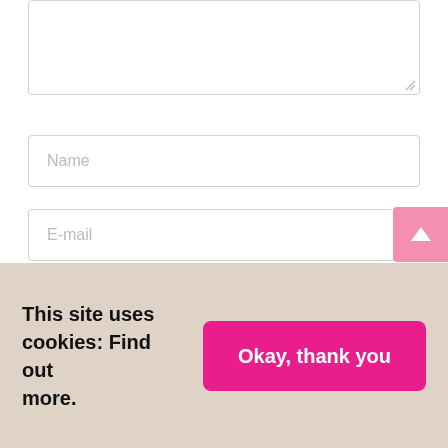[Figure (screenshot): A textarea input box (empty, with resize handle at bottom-right corner)]
[Figure (screenshot): A text input field with placeholder text 'Name']
[Figure (screenshot): A text input field with placeholder text 'E-mail']
[Figure (screenshot): A text input field with placeholder text 'Website']
[Figure (screenshot): A checkbox (unchecked)]
Save my name, email, and website in this browser for
This site uses cookies: Find out more.
[Figure (screenshot): Pink 'Okay, thank you' button in cookie consent banner]